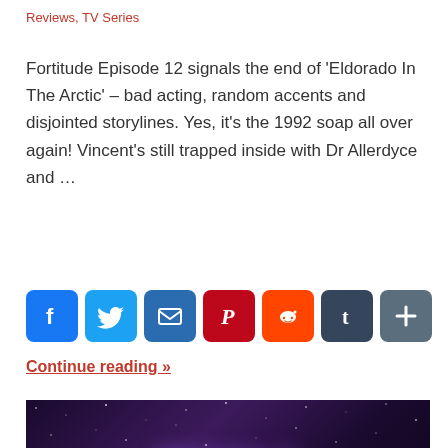Reviews, TV Series
Fortitude Episode 12 signals the end of 'Eldorado In The Arctic' – bad acting, random accents and disjointed storylines. Yes, it's the 1992 soap all over again! Vincent's still trapped inside with Dr Allerdyce and …
[Figure (infographic): Social media sharing buttons: Facebook, Twitter, Email, Pinterest, Reddit, Tumblr, Share More]
Continue reading »
[Figure (photo): Dark space/nebula background with white text reading 'MOSTLY HARMLESS' and a Follow button in the bottom right corner]